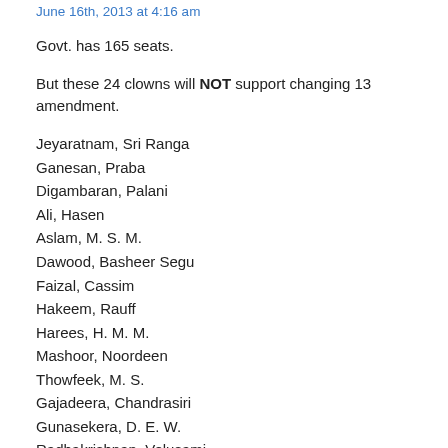June 16th, 2013 at 4:16 am
Govt. has 165 seats.
But these 24 clowns will NOT support changing 13 amendment.
Jeyaratnam, Sri Ranga
Ganesan, Praba
Digambaran, Palani
Ali, Hasen
Aslam, M. S. M.
Dawood, Basheer Segu
Faizal, Cassim
Hakeem, Rauff
Harees, H. M. M.
Mashoor, Noordeen
Thowfeek, M. S.
Gajadeera, Chandrasiri
Gunasekera, D. E. W.
Radhakrishnan, Velusami
Rajadore, Perumal
Sivalingam, Muthu
Thondaman, Arumugan
Nanayakkara, Vasudeva
Alantine, Silvestri
Chandrakumar, Murugesu
Devananda, Douglas
Padmasiri, Y. G.
Vitharana, Tissa